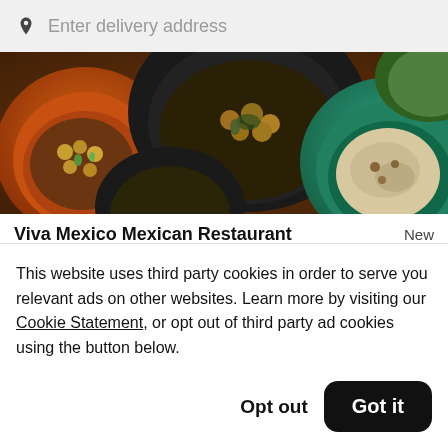Enter delivery address
[Figure (photo): Top-down view of several bowls of Mexican food including mushroom dishes, salsas, and other items on a dark wooden surface]
Viva Mexico Mexican Restaurant
New
$0.49 Delivery Fee • $
This website uses third party cookies in order to serve you relevant ads on other websites. Learn more by visiting our Cookie Statement, or opt out of third party ad cookies using the button below.
Opt out
Got it